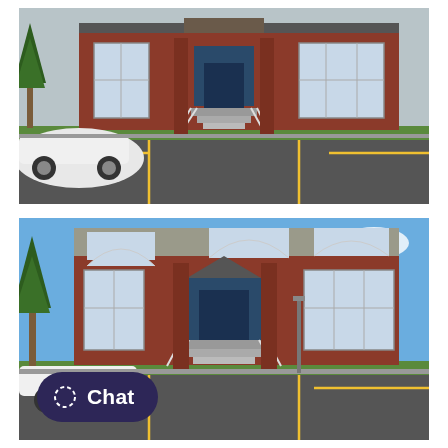[Figure (photo): Exterior photo of a brick townhouse building with white-framed windows, a central entrance with steps and white railing, a white car parked in the foreground parking lot with yellow lines, and evergreen trees to the left. Overcast sky. Taken from parking lot level.]
[Figure (photo): Exterior photo of the same brick townhouse building from a slightly wider angle and under a bright blue sky with white clouds. The building has arched upper windows with decorative fanlights, a central entrance with steps and white railing, white car parked in front, and evergreen trees to the left. A Chat button is overlaid at the bottom left.]